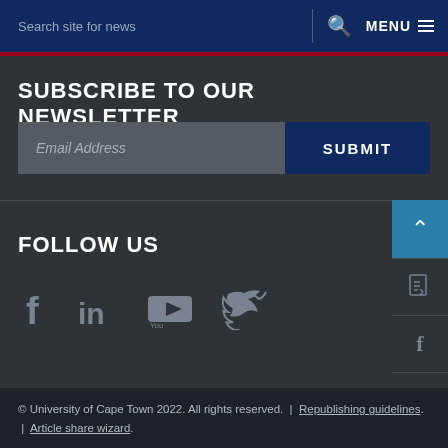Search site for news  MENU
SUBSCRIBE TO OUR NEWSLETTER
Email Address  SUBMIT
FOLLOW US
[Figure (other): Social media icons: Facebook, LinkedIn, YouTube, Twitter]
© University of Cape Town 2022. All rights reserved. | Republishing guidelines. | Article share wizard.